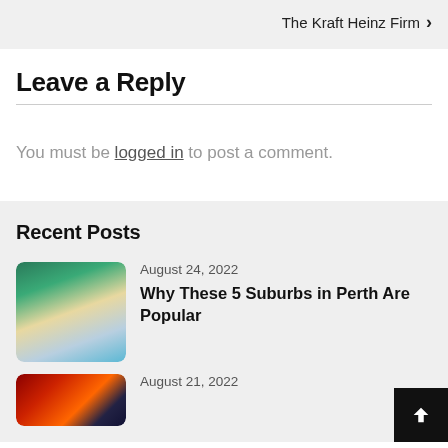The Kraft Heinz Firm ›
Leave a Reply
You must be logged in to post a comment.
Recent Posts
[Figure (photo): Aerial photograph of a beach coastline with turquoise water, white sand, and green trees.]
August 24, 2022
Why These 5 Suburbs in Perth Are Popular
[Figure (photo): Thumbnail image with dark red and orange colors, partially visible.]
August 21, 2022